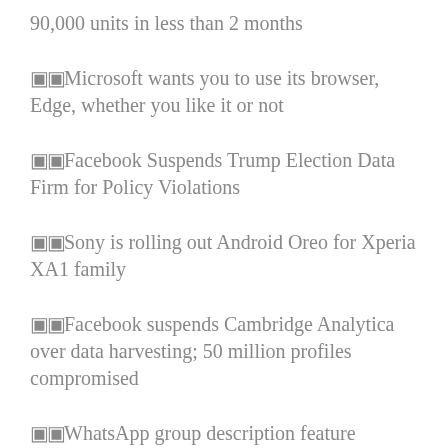90,000 units in less than 2 months
Microsoft wants you to use its browser, Edge, whether you like it or not
Facebook Suspends Trump Election Data Firm for Policy Violations
Sony is rolling out Android Oreo for Xperia XA1 family
Facebook suspends Cambridge Analytica over data harvesting; 50 million profiles compromised
WhatsApp group description feature available for Android and iOS